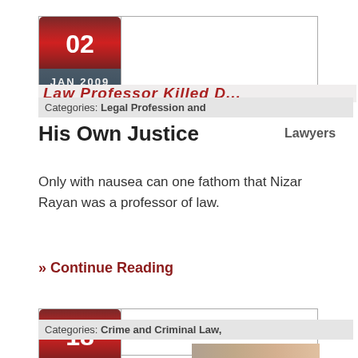[Figure (other): Calendar date widget showing 02 JAN 2009]
Categories: Legal Profession and
His Own Justice
Lawyers
Only with nausea can one fathom that Nizar Rayan was a professor of law.
» Continue Reading
[Figure (other): Calendar date widget showing 18 JAN 2013]
Categories: Crime and Criminal Law,